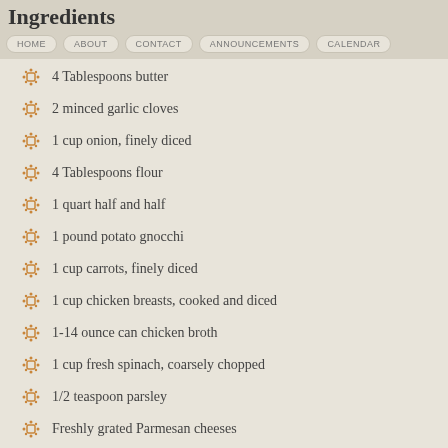Ingredients
HOME  ABOUT  CONTACT  ANNOUNCEMENTS  CALENDAR
4 Tablespoons butter
2 minced garlic cloves
1 cup onion, finely diced
4 Tablespoons flour
1 quart half and half
1 pound potato gnocchi
1 cup carrots, finely diced
1 cup chicken breasts, cooked and diced
1-14 ounce can chicken broth
1 cup fresh spinach, coarsely chopped
1/2 teaspoon parsley
Freshly grated Parmesan cheeses
Instructions